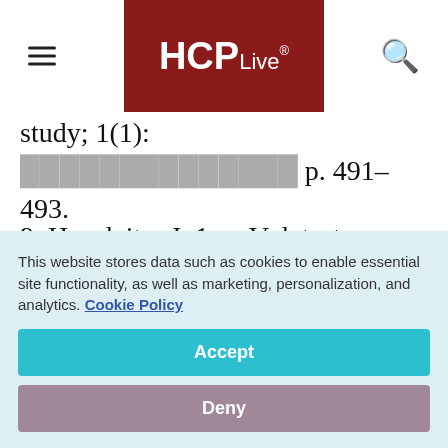HCPLive® (navigation bar with hamburger menu and search icon)
study; 1(1): [partially obscured text] p. 491–493.
9. Hausleiter J. 1 msV: latest advances in radiation dose reduction. Society of Cardiovascular Computed Tomography 2013 Scientific Meeting; July 12, 2013; Montreal,
This website stores data such as cookies to enable essential site functionality, as well as marketing, personalization, and analytics. Cookie Policy
Accept
Deny